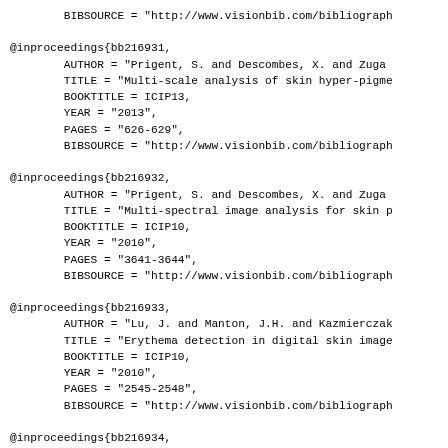BIBSOURCE = "http://www.visionbib.com/bibliograph
@inproceedings{bb216931,
        AUTHOR = "Prigent, S. and Descombes, X. and Zuga"
        TITLE = "Multi-scale analysis of skin hyper-pigme"
        BOOKTITLE = ICIP13,
        YEAR = "2013",
        PAGES = "626-629",
        BIBSOURCE = "http://www.visionbib.com/bibliograph
@inproceedings{bb216932,
        AUTHOR = "Prigent, S. and Descombes, X. and Zuga"
        TITLE = "Multi-spectral image analysis for skin p"
        BOOKTITLE = ICIP10,
        YEAR = "2010",
        PAGES = "3641-3644",
        BIBSOURCE = "http://www.visionbib.com/bibliograph
@inproceedings{bb216933,
        AUTHOR = "Lu, J. and Manton, J.H. and Kazmierczak"
        TITLE = "Erythema detection in digital skin image"
        BOOKTITLE = ICIP10,
        YEAR = "2010",
        PAGES = "2545-2548",
        BIBSOURCE = "http://www.visionbib.com/bibliograph
@inproceedings{bb216934,
        AUTHOR = "Scheibe, P. and Wetzig, T. and Kuska, J"
        TITLE = "3D-Reconstruction of Basal Cell Carcinom"
        BOOKTITLE = WBIR10,